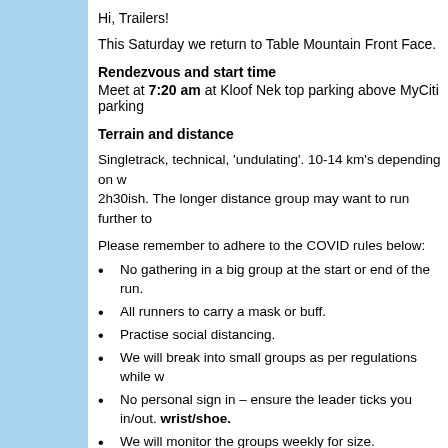Hi, Trailers!
This Saturday we return to Table Mountain Front Face.
Rendezvous and start time
Meet at 7:20 am at Kloof Nek top parking above MyCiti parking
Terrain and distance
Singletrack, technical, 'undulating'. 10-14 km's depending on w 2h30ish. The longer distance group may want to run further to
Please remember to adhere to the COVID rules below:
No gathering in a big group at the start or end of the run.
All runners to carry a mask or buff.
Practise social distancing.
We will break into small groups as per regulations while w
No personal sign in – ensure the leader ticks you in/out. wrist/shoe.
We will monitor the groups weekly for size.
VOB reserves the right to stop TMT if the COVID infectio
If you have any symptoms or have been in contact with a
Route